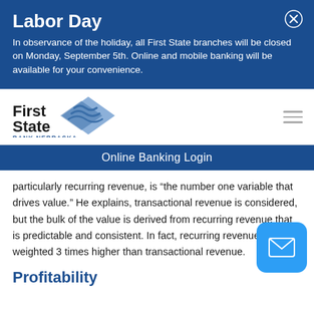Labor Day
In observance of the holiday, all First State branches will be closed on Monday, September 5th. Online and mobile banking will be available for your convenience.
[Figure (logo): First State Bank Nebraska logo with blue diamond and wave graphic]
Online Banking Login
particularly recurring revenue, is “the number one variable that drives value.” He explains, transactional revenue is considered, but the bulk of the value is derived from recurring revenue that is predictable and consistent. In fact, recurring revenue is weighted 3 times higher than transactional revenue.
Profitability